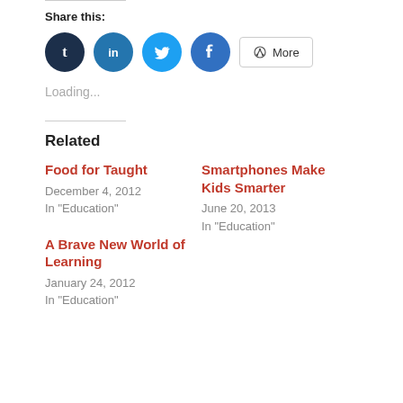Share this:
[Figure (other): Social sharing buttons: Tumblr, LinkedIn, Twitter, Facebook, and a More button]
Loading...
Related
Food for Taught
December 4, 2012
In "Education"
Smartphones Make Kids Smarter
June 20, 2013
In "Education"
A Brave New World of Learning
January 24, 2012
In "Education"